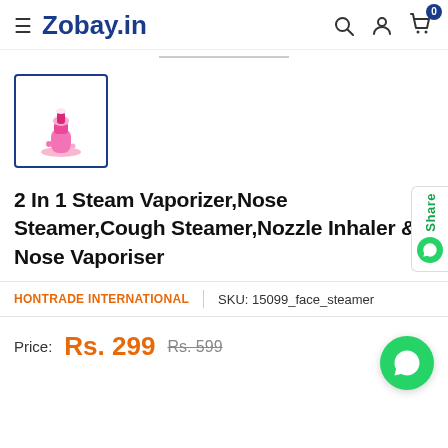Zobay.in
[Figure (photo): Thumbnail image of a pink 2-in-1 steam vaporizer/nose steamer product in a blue-bordered box]
2 In 1 Steam Vaporizer,Nose Steamer,Cough Steamer,Nozzle Inhaler & Nose Vaporiser
HONTRADE INTERNATIONAL | SKU: 15099_face_steamer
Price: Rs. 299  Rs. 599